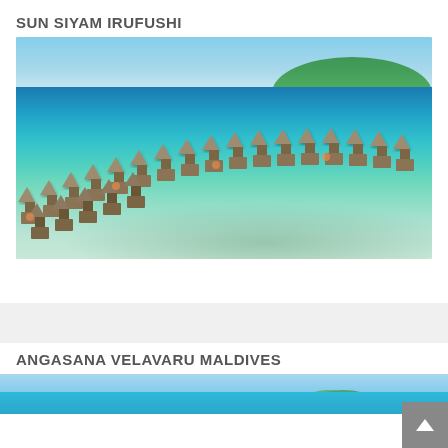SUN SIYAM IRUFUSHI
[Figure (photo): Aerial view of overwater bungalows at Sun Siyam Irufushi resort in the Maldives, showing a long curved row of thatched-roof water villas over a turquoise lagoon, with a coral reef island in the background and vivid blue sky.]
ANGASANA VELAVARU MALDIVES
[Figure (photo): Partial aerial view of Angasana Velavaru Maldives resort, showing turquoise water and tropical island.]